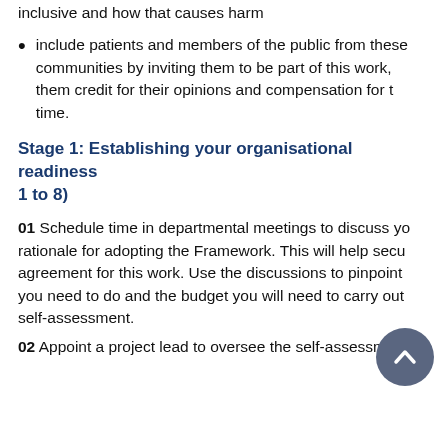inclusive and how that causes harm
include patients and members of the public from these communities by inviting them to be part of this work, them credit for their opinions and compensation for their time.
Stage 1: Establishing your organisational readiness (Steps 1 to 8)
01 Schedule time in departmental meetings to discuss your rationale for adopting the Framework. This will help secure agreement for this work. Use the discussions to pinpoint what you need to do and the budget you will need to carry out the self-assessment.
02 Appoint a project lead to oversee the self-assessment